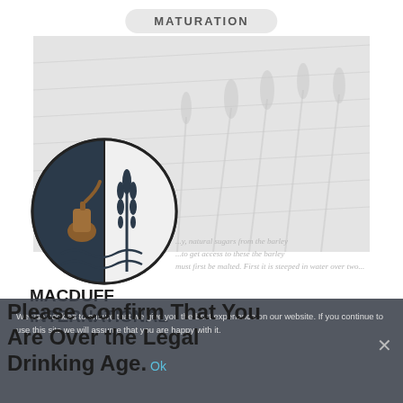MATURATION
[Figure (photo): Faded background image of barley/grain field]
[Figure (logo): Macduff International circular logo with distillery pot still, wheat, and water waves]
MACDUFF INTERNATIONAL
...y, natural sugars from the barley ...to get access to these the barley must first be malted. First it is steeped in water over two...
Please Confirm That You Are Over the Legal Drinking Age. Ok
We use cookies to ensure that we give you the best experience on our website. If you continue to use this site we will assume that you are happy with it.